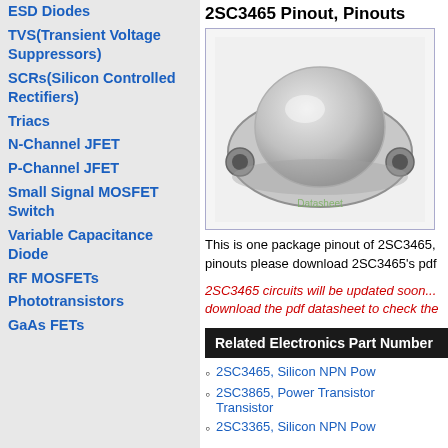ESD Diodes
TVS(Transient Voltage Suppressors)
SCRs(Silicon Controlled Rectifiers)
Triacs
N-Channel JFET
P-Channel JFET
Small Signal MOSFET Switch
Variable Capacitance Diode
RF MOSFETs
Phototransistors
GaAs FETs
2SC3465 Pinout, Pinouts
[Figure (photo): Photo of 2SC3465 transistor package, a metal TO-3 style case with dome top and two mounting holes, silver/grey color. Watermark reads 'Datasheet']
This is one package pinout of 2SC3465, pinouts please download 2SC3465's pdf
2SC3465 circuits will be updated soon... download the pdf datasheet to check the
Related Electronics Part Number
2SC3465, Silicon NPN Pow
2SC3865, Power Transistor Transistor
2SC3365, Silicon NPN Pow